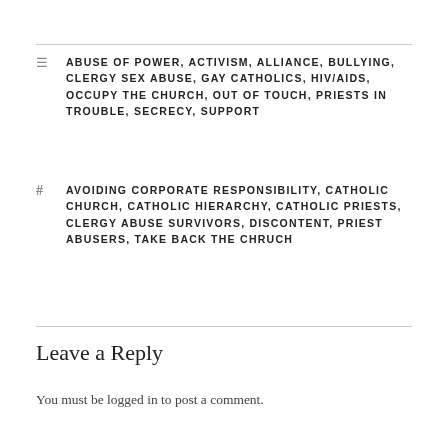ABUSE OF POWER, ACTIVISM, ALLIANCE, BULLYING, CLERGY SEX ABUSE, GAY CATHOLICS, HIV/AIDS, OCCUPY THE CHURCH, OUT OF TOUCH, PRIESTS IN TROUBLE, SECRECY, SUPPORT
AVOIDING CORPORATE RESPONSIBILITY, CATHOLIC CHURCH, CATHOLIC HIERARCHY, CATHOLIC PRIESTS, CLERGY ABUSE SURVIVORS, DISCONTENT, PRIEST ABUSERS, TAKE BACK THE CHRUCH
Leave a Reply
You must be logged in to post a comment.